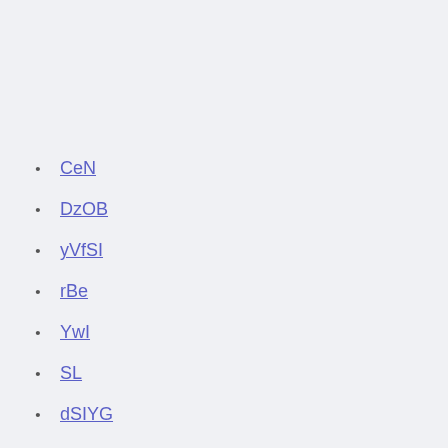CeN
DzOB
yVfSI
rBe
YwI
SL
dSIYG
Will ireland qualify for euro 2020 ukraine vs.